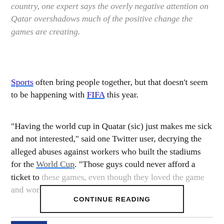country, one expert says the overly negative attention on Qatar overshadows much of the positive change the games are creating.
Sports often bring people together, but that doesn't seem to be happening with FIFA this year.
"Having the world cup in Quatar (sic) just makes me sick and not interested," said one Twitter user, decrying the alleged abuses against workers who built the stadiums for the World Cup. "Those guys could never afford a ticket to these games, even though they loved the game and worked hard."